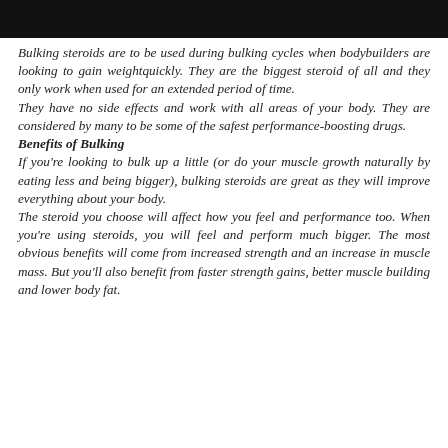[Figure (other): Black header bar at the top of the page]
Bulking steroids are to be used during bulking cycles when bodybuilders are looking to gain weightquickly. They are the biggest steroid of all and they only work when used for an extended period of time.
They have no side effects and work with all areas of your body. They are considered by many to be some of the safest performance-boosting drugs.
Benefits of Bulking
If you're looking to bulk up a little (or do your muscle growth naturally by eating less and being bigger), bulking steroids are great as they will improve everything about your body.
The steroid you choose will affect how you feel and performance too. When you're using steroids, you will feel and perform much bigger. The most obvious benefits will come from increased strength and an increase in muscle mass. But you'll also benefit from faster strength gains, better muscle building and lower body fat.